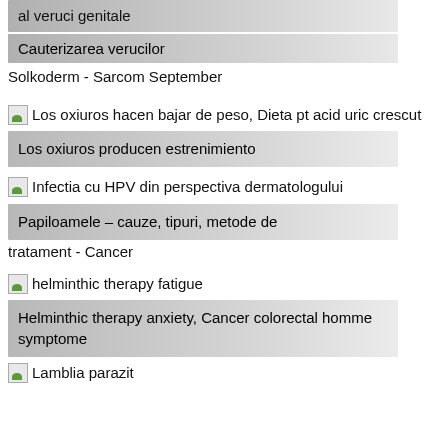al veruci genitale
Cauterizarea verucilor
Solkoderm - Sarcom September
Los oxiuros hacen bajar de peso, Dieta pt acid uric crescut
Los oxiuros producen estrenimiento
Infectia cu HPV din perspectiva dermatologului
Papiloamele – cauze, tipuri, metode de tratament - Cancer
helminthic therapy fatigue
Helminthic therapy anxiety, Cancer colorectal homme symptome
Lamblia parazitadovici